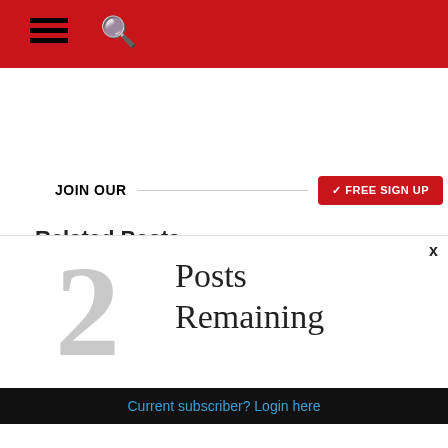Navigation bar with hamburger menu and search icon
JOIN OUR
FREE SIGN UP
Related Posts:
[Figure (photo): Blue gradient thumbnail image for related post]
[Figure (photo): Red and sky blue gradient thumbnail image for related post]
2
Posts Remaining
Subscribe today for full access
Current subscriber? Login here
[Figure (photo): Blue gradient thumbnail partial image at bottom]
Fort Frances among